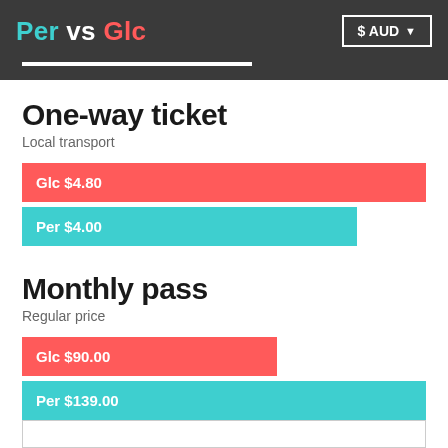Per vs Glc  $ AUD
One-way ticket
Local transport
[Figure (bar-chart): One-way ticket]
Monthly pass
Regular price
[Figure (bar-chart): Monthly pass]